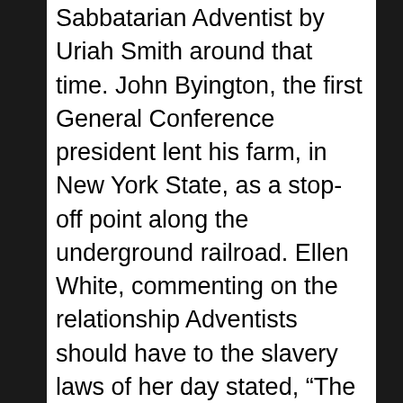Sabbatarian Adventist by Uriah Smith around that time. John Byington, the first General Conference president lent his farm, in New York State, as a stop-off point along the underground railroad. Ellen White, commenting on the relationship Adventists should have to the slavery laws of her day stated, “The law of our land requiring us to deliver a slave to his master we are not to obey; and we must abide the consequences of violating this law.” John Andrews, John Loughborough, Joseph Bates and Uriah Smith all